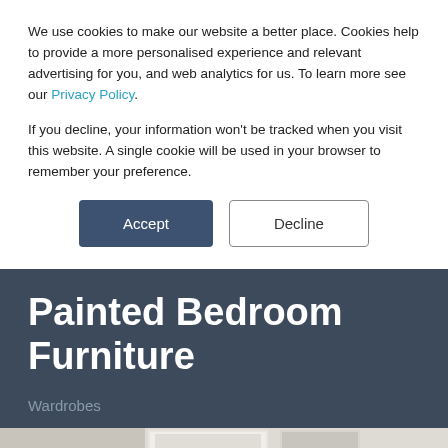We use cookies to make our website a better place. Cookies help to provide a more personalised experience and relevant advertising for you, and web analytics for us. To learn more see our Privacy Policy.
If you decline, your information won’t be tracked when you visit this website. A single cookie will be used in your browser to remember your preference.
Accept
Decline
Painted Bedroom Furniture
Wardrobes
[Figure (photo): Partial view of painted bedroom furniture/wardrobes]
DOWNLOAD BROCHURE